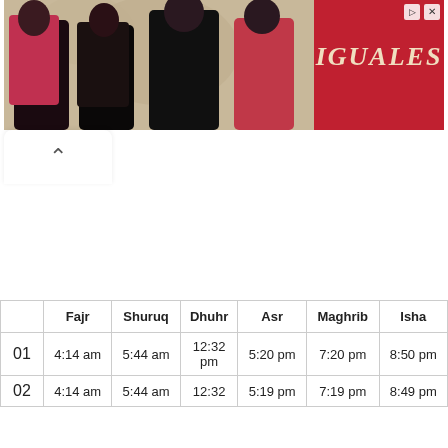[Figure (photo): Advertisement banner showing four people in stylish outfits with sunglasses against an ornate background, with the text IGUALES in decorative lettering on a red background]
|  | Fajr | Shuruq | Dhuhr | Asr | Maghrib | Isha |
| --- | --- | --- | --- | --- | --- | --- |
| 01 | 4:14 am | 5:44 am | 12:32 pm | 5:20 pm | 7:20 pm | 8:50 pm |
| 02 | 4:14 am | 5:44 am | 12:32 | 5:19 pm | 7:19 pm | 8:49 pm |